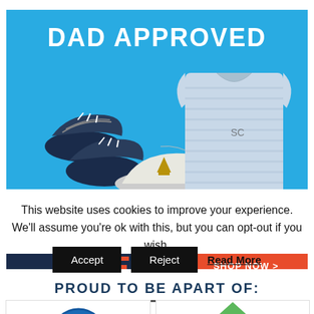[Figure (photo): Fanatics ad banner with text 'DAD APPROVED', showing shoes, a cap, and a polo shirt on blue background, with Fanatics logo and SHOP NOW button]
PROUD TO BE APART OF:
[Figure (logo): Blue circular badge logo (partially visible)]
[Figure (logo): Green triangle logo (partially visible)]
This website uses cookies to improve your experience. We'll assume you're ok with this, but you can opt-out if you wish.
Accept
Reject
Read More